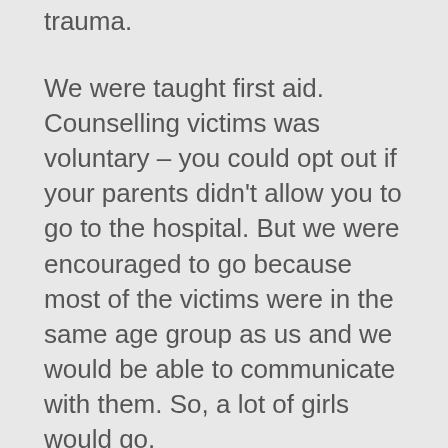trauma.
We were taught first aid. Counselling victims was voluntary – you could opt out if your parents didn't allow you to go to the hospital. But we were encouraged to go because most of the victims were in the same age group as us and we would be able to communicate with them. So, a lot of girls would go.
RW: Are you proud of the training that you received?
KW: Yes, of course. When you hold a rifle you feel good about yourself. We used to talk about it all